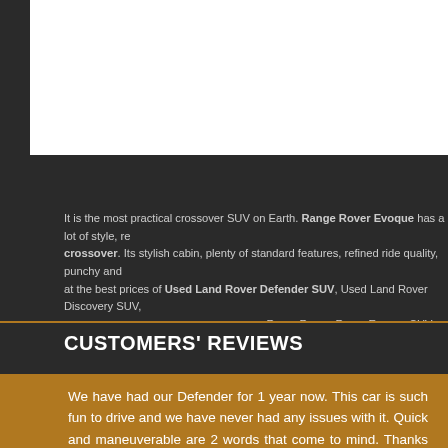[Figure (photo): White background area at the top of the page, likely an image placeholder or cropped image region]
It is the most practical crossover SUV on Earth. Range Rover Evoque has a lot of style, re... crossover. Its stylish cabin, plenty of standard features, refined ride quality, punchy and ... at the best prices of Used Land Rover Defender SUV, Used Land Rover Discovery SUV, ... Rover Range Rover Evoque SUV, e...
CUSTOMERS' REVIEWS
We have had our Defender for 1 year now. This car is such fun to drive and we have never had any issues with it. Quick and maneuverable are 2 words that come to mind. Thanks you!
Dirk J., Nov 19th 2014
I have had m... now, and get ... to drive Vehic... getting 26mpg... to work with a...